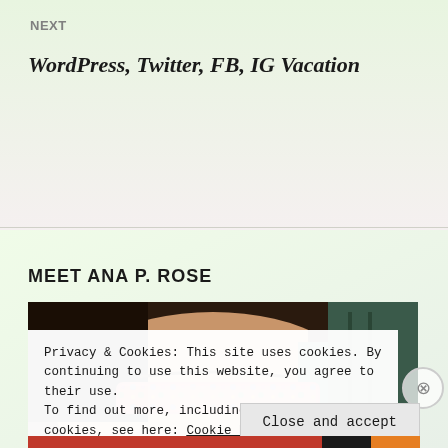NEXT
WordPress, Twitter, FB, IG Vacation
MEET ANA P. ROSE
[Figure (photo): Close-up photo of a person's face partially hidden by colorful floral glasses/spectacles, dark curly hair, with a teal background]
Privacy & Cookies: This site uses cookies. By continuing to use this website, you agree to their use.
To find out more, including how to control cookies, see here: Cookie Policy
Close and accept